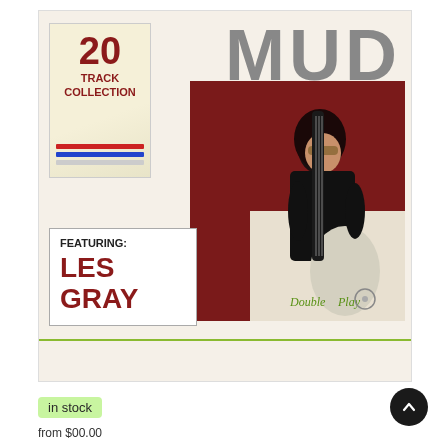[Figure (illustration): Album cover for Mud - 20 Track Collection featuring Les Gray on Double Play label. Shows a musician holding a bass guitar against a red background, with '20 TRACK COLLECTION' badge on left, 'MUD' title large at top, 'FEATURING: LES GRAY' text box on lower left, and Double Play logo at bottom right.]
in stock
from $00.00